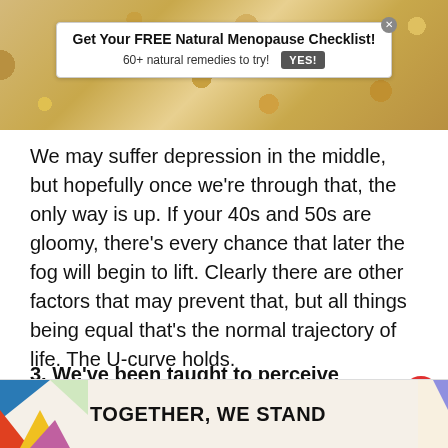[Figure (photo): Close-up photo of soybeans/legumes with a white advertisement banner overlay. Ad reads: 'Get Your FREE Natural Menopause Checklist! 60+ natural remedies to try! YES!']
We may suffer depression in the middle, but hopefully once we’re through that, the only way is up. If your 40s and 50s are gloomy, there’s every chance that later the fog will begin to lift. Clearly there are other factors that may prevent that, but all things being equal that’s the normal trajectory of life. The U-curve holds.
3. We’ve been taught to perceive midlife (which is when menopause usually happens) as a crisis. Just search midlife in Google and all
[Figure (screenshot): Bottom advertisement banner with colorful abstract shapes on left and right, text 'TOGETHER, WE STAND' in bold, with a close button X in top right corner.]